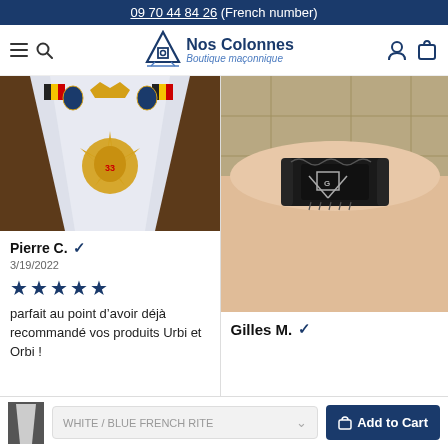09 70 44 84 26 (French number)
[Figure (logo): Nos Colonnes Boutique maçonnique logo with square and compass symbol]
[Figure (photo): Masonic 33rd degree sash/collar with eagle emblem and Belgian flags on white satin]
Pierre C. ✓
3/19/2022
★★★★★
parfait au point d'avoir déjà recommandé vos produits Urbi et Orbi !
[Figure (photo): Masonic black bracelet/wristband with square and compass symbol worn on a wrist]
Gilles M. ✓
WHITE / BLUE FRENCH RITE
Add to Cart